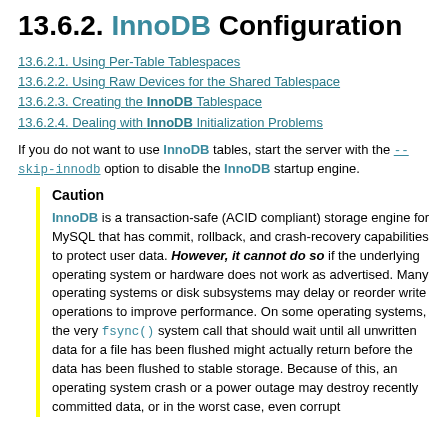13.6.2. InnoDB Configuration
13.6.2.1. Using Per-Table Tablespaces
13.6.2.2. Using Raw Devices for the Shared Tablespace
13.6.2.3. Creating the InnoDB Tablespace
13.6.2.4. Dealing with InnoDB Initialization Problems
If you do not want to use InnoDB tables, start the server with the --skip-innodb option to disable the InnoDB startup engine.
Caution
InnoDB is a transaction-safe (ACID compliant) storage engine for MySQL that has commit, rollback, and crash-recovery capabilities to protect user data. However, it cannot do so if the underlying operating system or hardware does not work as advertised. Many operating systems or disk subsystems may delay or reorder write operations to improve performance. On some operating systems, the very fsync() system call that should wait until all unwritten data for a file has been flushed might actually return before the data has been flushed to stable storage. Because of this, an operating system crash or a power outage may destroy recently committed data, or in the worst case, even corrupt